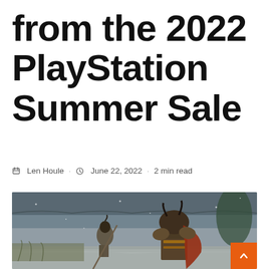from the 2022 PlayStation Summer Sale
Len Houle · June 22, 2022 · 2 min read
[Figure (photo): Screenshot from a video game (likely Sekiro: Shadows Die Twice) showing two samurai warriors in combat in a snowy outdoor setting near a traditional Japanese building. One warrior in ornate dark armor faces a lighter-armored opponent.]